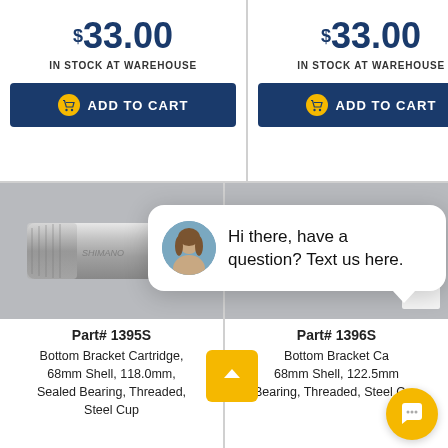$33.00 IN STOCK AT WAREHOUSE
ADD TO CART
$33.00 IN STOCK AT WAREHOUSE
ADD TO CART
[Figure (photo): Bottom bracket cartridge metal part product photo]
[Figure (photo): Bottom bracket cartridge metal part product photo with close button]
close
Hi there, have a question? Text us here.
Part# 1395S
Bottom Bracket Cartridge, 68mm Shell, 118.0mm, Sealed Bearing, Threaded, Steel Cup
Part# 1396S
Bottom Bracket Cartridge, 68mm Shell, 122.5mm, Sealed Bearing, Threaded, Steel Cup